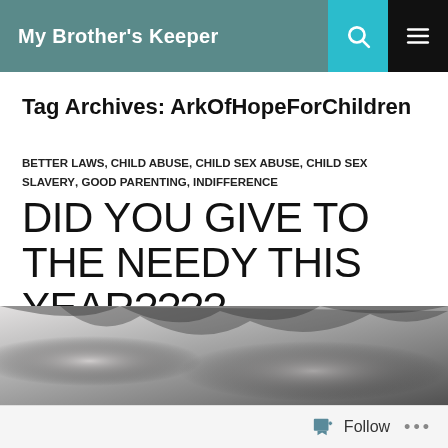My Brother's Keeper
Tag Archives: ArkOfHopeForChildren
BETTER LAWS, CHILD ABUSE, CHILD SEX ABUSE, CHILD SEX SLAVERY, GOOD PARENTING, INDIFFERENCE
DID YOU GIVE TO THE NEEDY THIS YEAR????
JANUARY 1, 2017
[Figure (photo): Black and white close-up photo of a person, mostly showing the top portion of a face with dark hair]
Follow